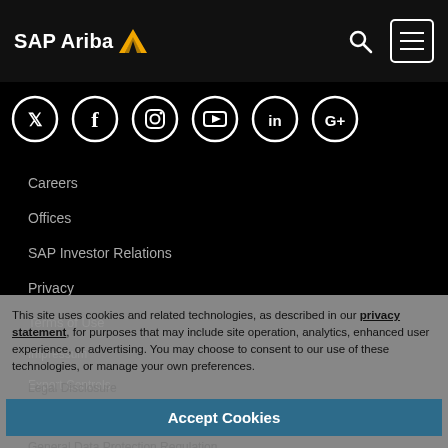SAP Ariba
[Figure (infographic): Row of 6 social media icons in white circles on black background: Twitter, Facebook, Instagram, YouTube, LinkedIn, Google+]
Careers
Offices
SAP Investor Relations
Privacy
Terms of Use
Impressum
Export Controls
Legal Disclosure
General Data Protection Regulation
Cloud Trust Center
This site uses cookies and related technologies, as described in our privacy statement, for purposes that may include site operation, analytics, enhanced user experience, or advertising. You may choose to consent to our use of these technologies, or manage your own preferences.
Accept Cookies
More Information
Privacy Policy | Powered by: TrustArc